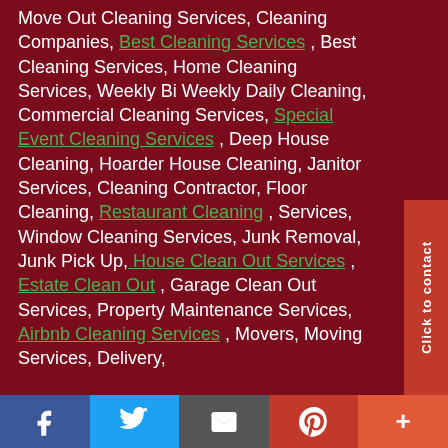Move Out Cleaning Services, Cleaning Companies, Best Cleaning Services , Best Cleaning Services, Home Cleaning Services, Weekly Bi Weekly Daily Cleaning, Commercial Cleaning Services, Special Event Cleaning Services , Deep House Cleaning, Hoarder House Cleaning, Janitor Services, Cleaning Contractor, Floor Cleaning,  Restaurant Cleaning , Services, Window Cleaning Services, Junk Removal, Junk Pick Up, House Clean Out Services ,  Estate Clean Out , Garage Clean Out Services, Property Maintenance Services,  Airbnb Cleaning Services , Movers, Moving Services, Delivery,
[Figure (other): Social media sharing bar with Facebook, Twitter, Email, Pinterest, and More buttons]